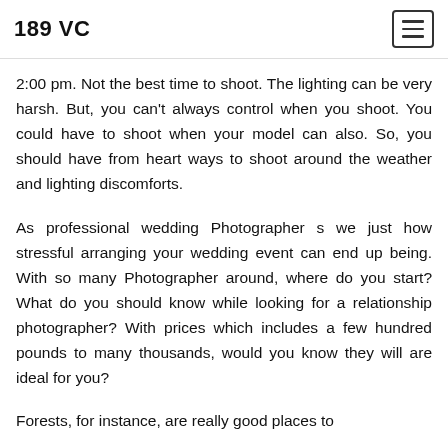189 VC
2:00 pm. Not the best time to shoot. The lighting can be very harsh. But, you can't always control when you shoot. You could have to shoot when your model can also. So, you should have from heart ways to shoot around the weather and lighting discomforts.
As professional wedding Photographer s we just how stressful arranging your wedding event can end up being. With so many Photographer around, where do you start? What do you should know while looking for a relationship photographer? With prices which includes a few hundred pounds to many thousands, would you know they will are ideal for you?
Forests, for instance, are really good places to